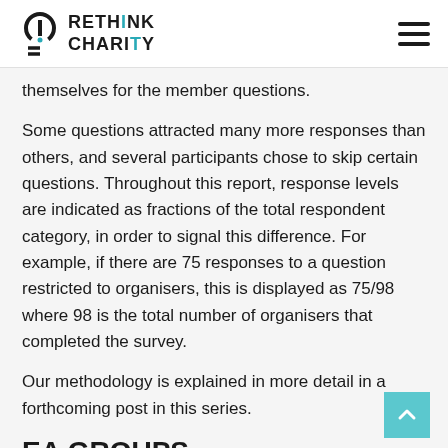RETHINK CHARITY
themselves for the member questions.
Some questions attracted many more responses than others, and several participants chose to skip certain questions. Throughout this report, response levels are indicated as fractions of the total respondent category, in order to signal this difference. For example, if there are 75 responses to a question restricted to organisers, this is displayed as 75/98 where 98 is the total number of organisers that completed the survey.
Our methodology is explained in more detail in a forthcoming post in this series.
EA GROUPS